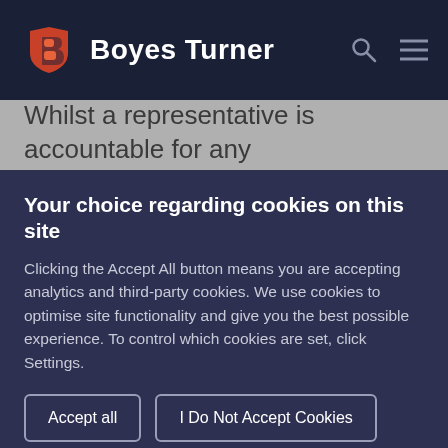[Figure (logo): Boyes Turner logo with red/orange shield icon and white bold text 'Boyes Turner' on dark navy background, with search and hamburger menu icons on right]
Whilst a representative is accountable for any claims...
Your choice regarding cookies on this site
Clicking the Accept All button means you are accepting analytics and third-party cookies. We use cookies to optimise site functionality and give you the best possible experience. To control which cookies are set, click Settings.
Accept all
I Do Not Accept Cookies
Settings